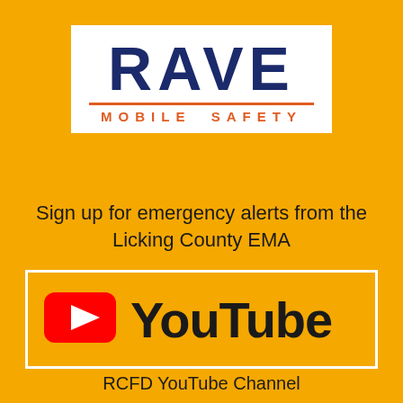[Figure (logo): Rave Mobile Safety logo — bold dark blue RAVE text above an orange horizontal line and orange spaced-out MOBILE SAFETY text, inside a white bordered box]
Sign up for emergency alerts from the Licking County EMA
[Figure (logo): YouTube logo — red rounded rectangle with white play triangle on the left, bold black 'YouTube' text on the right, inside a white bordered box]
RCFD YouTube Channel